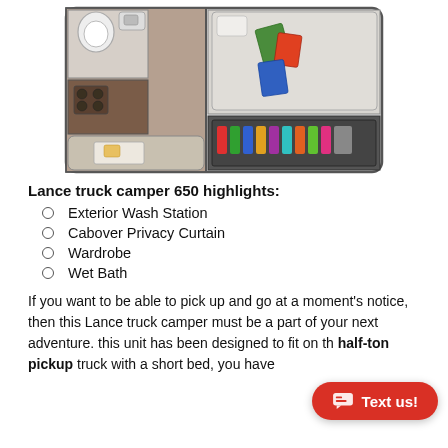[Figure (schematic): Top-down floor plan illustration of Lance truck camper 650, showing interior layout with bathroom (toilet, sink), kitchen area, seating/dinette, cabover sleeping area, and storage/fridge compartment.]
Lance truck camper 650 highlights:
Exterior Wash Station
Cabover Privacy Curtain
Wardrobe
Wet Bath
If you want to be able to pick up and go at a moment's notice, then this Lance truck camper must be a part of your next adventure. this unit has been designed to fit on the half-ton pickup truck with a short bed, you have